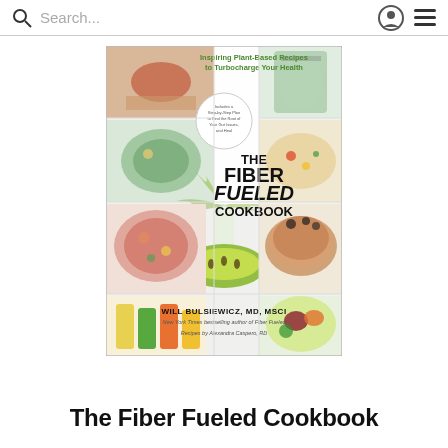Search...
[Figure (photo): Book cover of 'The Fiber Fueled Cookbook' by Will Bulsiewicz, MD, MSCI. Cover shows plant-based food photos in a grid layout with a kiwi fruit image in the center.]
The Fiber Fueled Cookbook